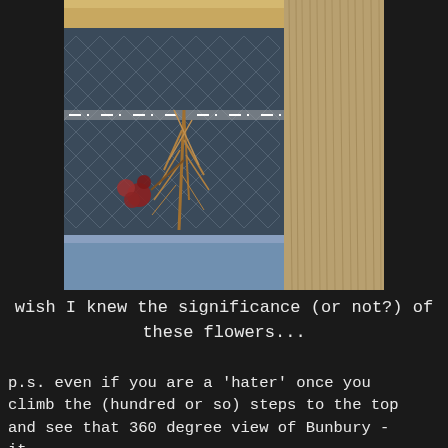[Figure (photo): A photograph showing dried/dead flowers or plants tied to a wire chain-link fence or mesh screen door, with a wooden post or wall visible on the right side. A blue step or ledge is visible at the bottom. Some reddish flowers are visible on the left side of the plant material.]
wish I knew the significance (or not?) of these flowers...
p.s. even if you are a 'hater' once you climb the (hundred or so) steps to the top and see that 360 degree view of Bunbury - it...